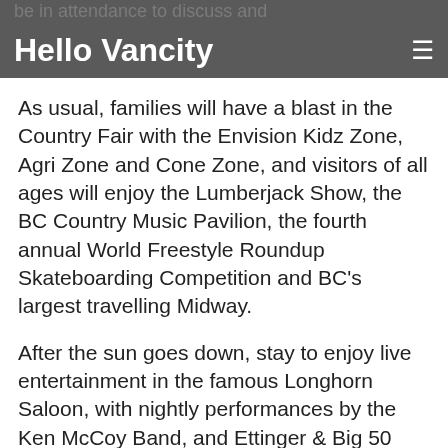be in attendance to discuss and
Hello Vancity ≡
As usual, families will have a blast in the Country Fair with the Envision Kidz Zone, Agri Zone and Cone Zone, and visitors of all ages will enjoy the Lumberjack Show, the BC Country Music Pavilion, the fourth annual World Freestyle Roundup Skateboarding Competition and BC's largest travelling Midway.
After the sun goes down, stay to enjoy live entertainment in the famous Longhorn Saloon, with nightly performances by the Ken McCoy Band, and Ettinger & Big 50